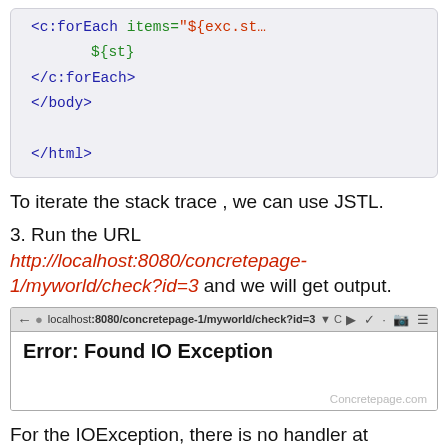[Figure (screenshot): Code snippet showing JSP/JSTL forEach loop with items attribute referencing exc.stackTrace, body variable ${st}, closing forEach and body tags, and closing html tag. Code box with light gray background.]
To iterate the stack trace , we can use JSTL.
3. Run the URL http://localhost:8080/concretepage-1/myworld/check?id=3 and we will get output.
[Figure (screenshot): Browser screenshot showing URL localhost:8080/concretepage-1/myworld/check?id=3 in address bar, with page content displaying bold text: Error: Found IO Exception. Watermark: Concretepage.com]
For the IOException, there is no handler at controller